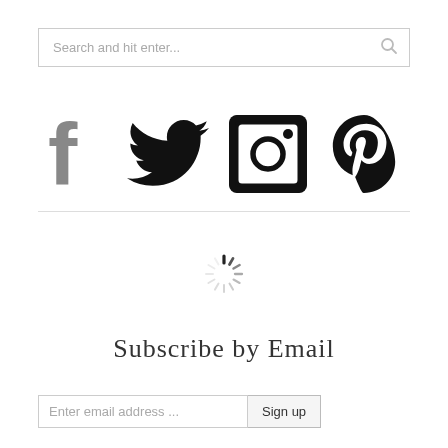[Figure (screenshot): Search input box with placeholder text 'Search and hit enter...' and a search icon on the right]
[Figure (infographic): Four social media icons: Facebook (grey 'f'), Twitter (black bird), Instagram (black camera), Pinterest (black 'p')]
[Figure (other): Loading spinner / activity indicator icon]
Subscribe by Email
[Figure (screenshot): Email subscription form with 'Enter email address ...' input field and 'Sign up' button]